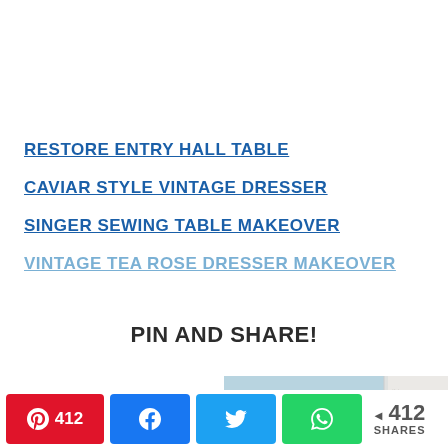RESTORE ENTRY HALL TABLE
CAVIAR STYLE VINTAGE DRESSER
SINGER SEWING TABLE MAKEOVER
VINTAGE TEA ROSE DRESSER MAKEOVER
PIN AND SHARE!
[Figure (screenshot): Preview image of a crafts/furniture makeover article, showing a light blue-grey background with white circular objects and text overlay on the right side]
412 SHARES